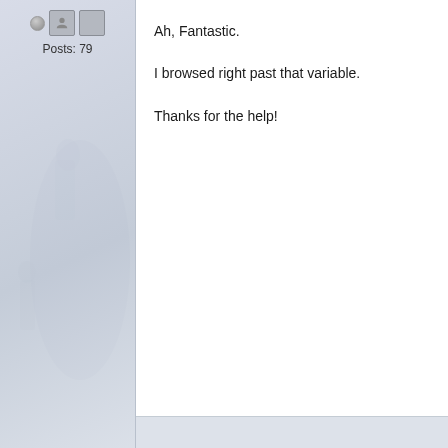Posts: 79
Ah, Fantastic.

I browsed right past that variable.

Thanks for the help!
Volsky
[Figure (illustration): Avatar image: orange and white striped background with a person pointing, text reads 'You are a noob']
Posts: 344
So, I've got the correct files created and no erro...
Pocketsize: "I can't wait till the new imbalances will creat... Canada."